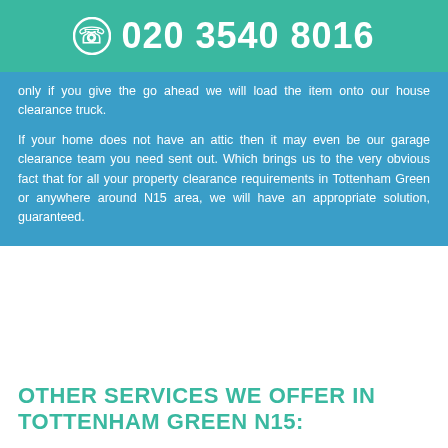020 3540 8016
only if you give the go ahead we will load the item onto our house clearance truck.
If your home does not have an attic then it may even be our garage clearance team you need sent out. Which brings us to the very obvious fact that for all your property clearance requirements in Tottenham Green or anywhere around N15 area, we will have an appropriate solution, guaranteed.
OTHER SERVICES WE OFFER IN TOTTENHAM GREEN N15: